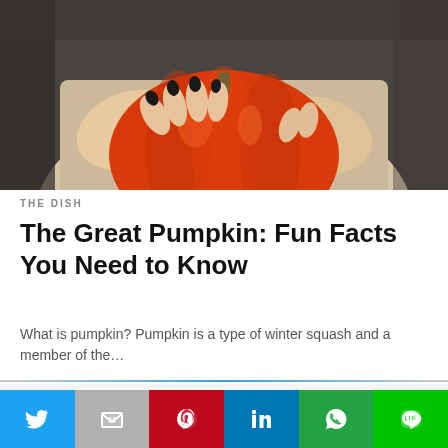[Figure (photo): Person in beige sweater holding a large red/orange pumpkin with black painted fingernails]
THE DISH
The Great Pumpkin: Fun Facts You Need to Know
What is pumpkin? Pumpkin is a type of winter squash and a member of the...
This website uses cookies.
Social sharing bar: Twitter, Gmail/Mail, Pinterest, LinkedIn, WhatsApp, Line